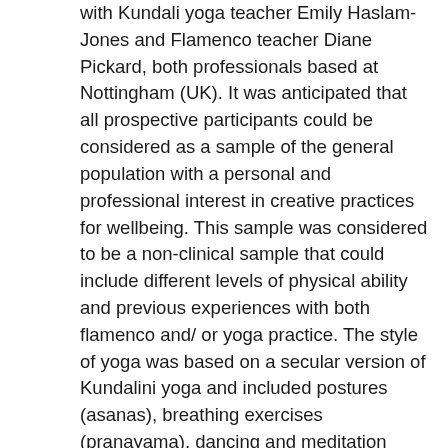with Kundali yoga teacher Emily Haslam-Jones and Flamenco teacher Diane Pickard, both professionals based at Nottingham (UK). It was anticipated that all prospective participants could be considered as a sample of the general population with a personal and professional interest in creative practices for wellbeing. This sample was considered to be a non-clinical sample that could include different levels of physical ability and previous experiences with both flamenco and/ or yoga practice. The style of yoga was based on a secular version of Kundalini yoga and included postures (asanas), breathing exercises (pranayama), dancing and meditation techniques. The session was structured to include gentle warm up exercises, one or two periods of meditation or rest combined with physical movements ranging from warm ups typical from a flamenco technique class, to a peak session of dancing (i.e., flamenco-like movements), combined with some static postures, cooling down, 10 min relaxation, and ending with 3-5 min of meditation. Flamenco music was played at all the times, combining faster rhythms for the more dynamic parts with slower ones for the less intense activities. Kundalini yoga